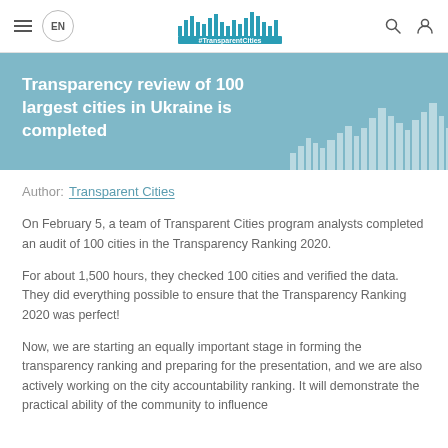EN | #TransparentCities
Transparency review of 100 largest cities in Ukraine is completed
Author: Transparent Cities
On February 5, a team of Transparent Cities program analysts completed an audit of 100 cities in the Transparency Ranking 2020.
For about 1,500 hours, they checked 100 cities and verified the data. They did everything possible to ensure that the Transparency Ranking 2020 was perfect!
Now, we are starting an equally important stage in forming the transparency ranking and preparing for the presentation, and we are also actively working on the city accountability ranking. It will demonstrate the practical ability of the community to influence